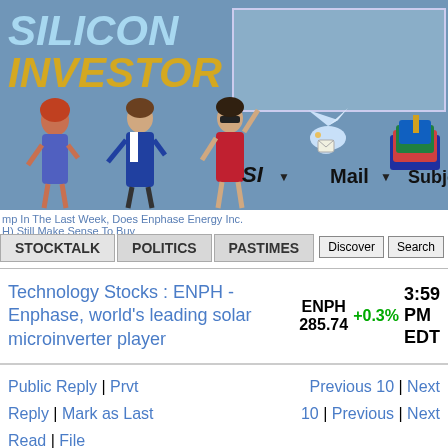[Figure (screenshot): Silicon Investor website header with logo, navigation icons (SI, Mail, SubjectM), cartoon figures of people]
SILICON INVESTOR
mp In The Last Week, Does Enphase Energy Inc. H) Still Make Sense To Buy
STOCKTALK  POLITICS  PASTIMES
Technology Stocks : ENPH - Enphase, world's leading solar microinverter player
ENPH 285.74 +0.3% 3:59 PM EDT
Public Reply | Prvt Reply | Mark as Last Read | File
Previous 10 | Next 10 | Previous | Next
From: Sultan